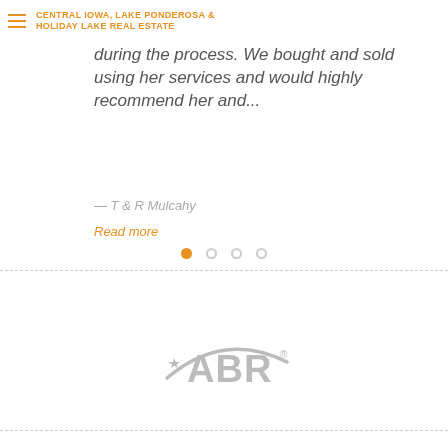CENTRAL IOWA, LAKE PONDEROSA & HOLIDAY LAKE REAL ESTATE
during the process. We bought and sold using her services and would highly recommend her and...
— T & R Mulcahy
Read more
[Figure (other): Carousel navigation dots — one filled orange dot (active) and three empty grey circle dots]
[Figure (logo): ABR (Accredited Buyer's Representative) logo in grey — star and arc swoosh with letters ABR and registered trademark symbol]